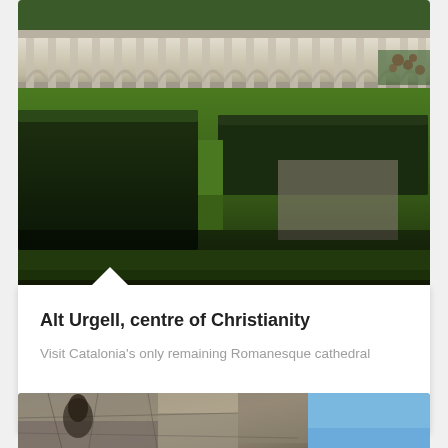[Figure (photo): Photograph of a Romanesque cloister garden with neatly trimmed boxwood hedges forming geometric patterns on a green lawn, with an arcade of arched columns visible along the top.]
Alt Urgell, centre of Christianity
Visit Catalonia's only remaining Romanesque cathedral
[Figure (photo): Partial photograph showing stone architectural detail of a Romanesque cathedral facade or tower with carved stonework, blue sky visible in the upper right.]